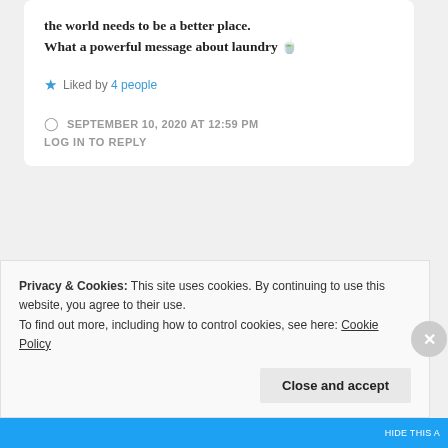the world needs to be a better place.
What a powerful message about laundry 🍵
★ Liked by 4 people
SEPTEMBER 10, 2020 AT 12:59 PM
LOG IN TO REPLY
[Figure (photo): User avatar photo, circular crop]
...
Privacy & Cookies: This site uses cookies. By continuing to use this website, you agree to their use.
To find out more, including how to control cookies, see here: Cookie Policy
Close and accept